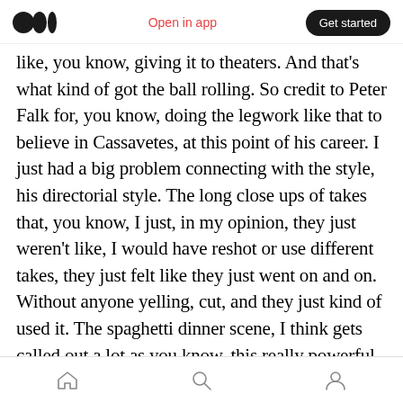Medium logo | Open in app | Get started
like, you know, giving it to theaters. And that's what kind of got the ball rolling. So credit to Peter Falk for, you know, doing the legwork like that to believe in Cassavetes, at this point of his career. I just had a big problem connecting with the style, his directorial style. The long close ups of takes that, you know, I just, in my opinion, they just weren't like, I would have reshot or use different takes, they just felt like they just went on and on. Without anyone yelling, cut, and they just kind of used it. The spaghetti dinner scene, I think gets called out a lot as you know, this really powerful, cinematic moment. But I was really not
Home | Search | Profile